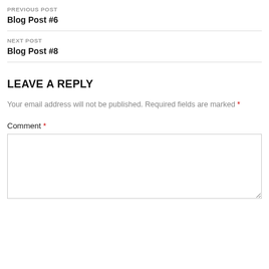PREVIOUS POST
Blog Post #6
NEXT POST
Blog Post #8
LEAVE A REPLY
Your email address will not be published. Required fields are marked *
Comment *